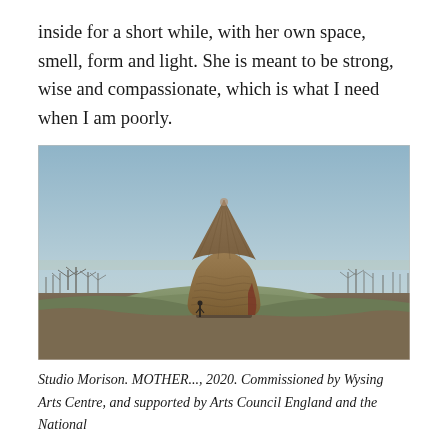inside for a short while, with her own space, smell, form and light. She is meant to be strong, wise and compassionate, which is what I need when I am poorly.
[Figure (photo): Photograph of a large thatched conical hut structure resembling a haystack or rustic building, situated on a grassy mound in an open landscape under a clear blue-grey sky. A small human figure stands near the base of the structure for scale. Bare trees are visible in the background.]
Studio Morison. MOTHER..., 2020. Commissioned by Wysing Arts Centre, and supported by Arts Council England and the National